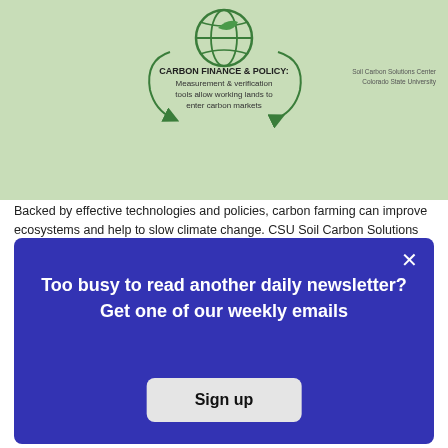[Figure (infographic): Carbon farming cycle infographic with globe icon, arrows, and text label 'CARBON FINANCE & POLICY: Measurement & verification tools allow working lands to enter carbon markets'. Attribution: Soil Carbon Solutions Center, Colorado State University. Green background.]
Backed by effective technologies and policies, carbon farming can improve ecosystems and help to slow climate change. CSU Soil Carbon Solutions Center, CC BY-ND
Benefits and challenges
Rebuilding carbon-rich soil supports farmers'
[Figure (screenshot): Modal popup overlay with dark blue background. Title text: 'Too busy to read another daily newsletter? Get one of our weekly emails'. Button: 'Sign up'. Close X in top right corner.]